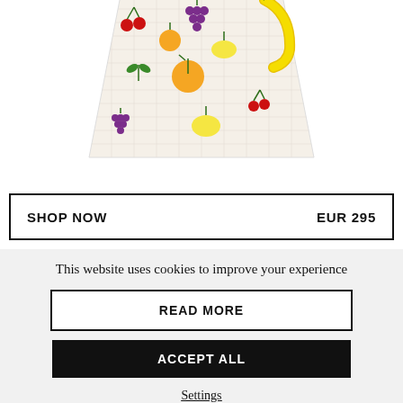[Figure (photo): A decorative pillow/cushion with a cream/white textured fabric featuring colorful fruit illustrations including cherries, grapes, bananas, oranges, and lemons on a light beige background. The pillow appears slightly trapezoidal in shape.]
SHOP NOW    EUR 295
This website uses cookies to improve your experience
READ MORE
ACCEPT ALL
Settings